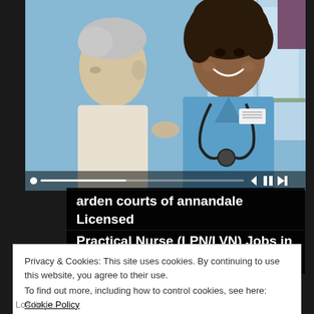[Figure (photo): A smiling nurse in blue scrubs with a stethoscope attending to an elderly patient, in what appears to be a care facility. Video player controls and progress bar visible at bottom of image.]
arden courts of annandale Licensed Practical Nurse (LPN/LVN) Jobs in Ashburn...
Privacy & Cookies: This site uses cookies. By continuing to use this website, you agree to their use.
To find out more, including how to control cookies, see here: Cookie Policy
Close and accept
Loading...